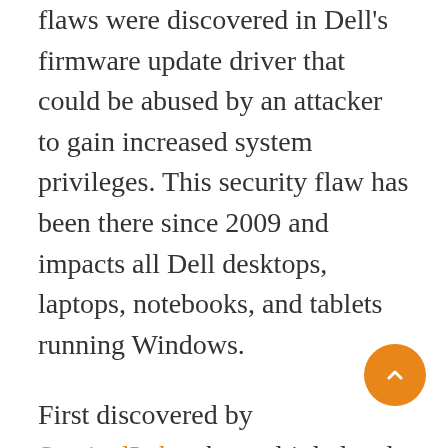flaws were discovered in Dell's firmware update driver that could be abused by an attacker to gain increased system privileges. This security flaw has been there since 2009 and impacts all Dell desktops, laptops, notebooks, and tablets running Windows.
First discovered by SentinelLabs, the multiple local privilege-escalation (LPE) bugs exist in the company's dbutil_2_3.sys driver and allows an attacker to gain increased system privileges. This BIOS driver comes pre-installed on most Dell desktops and laptops running Windows, and it has been vulnerable since 2009. However, SintinelLabs points that there's currently no evidence that these